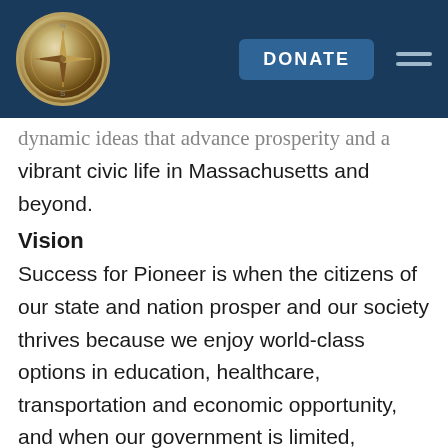[Figure (logo): Compass logo on dark navy blue header bar with a DONATE button and hamburger menu icon]
dynamic ideas that advance prosperity and a vibrant civic life in Massachusetts and beyond.
Vision
Success for Pioneer is when the citizens of our state and nation prosper and our society thrives because we enjoy world-class options in education, healthcare, transportation and economic opportunity, and when our government is limited, accountable and transparent.
Values
Pioneer believes that America is at its best when our citizenry is well-educated, committed to